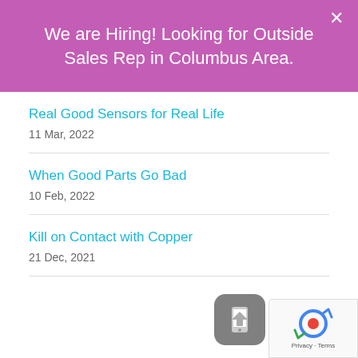We are Hiring! Looking for Outside Sales Rep in Columbus Area.
Real Good Sensors for Real Life
11 Mar, 2022
When Good Parts Go Bad
10 Feb, 2022
Kill on Contact with Copper
21 Dec, 2021